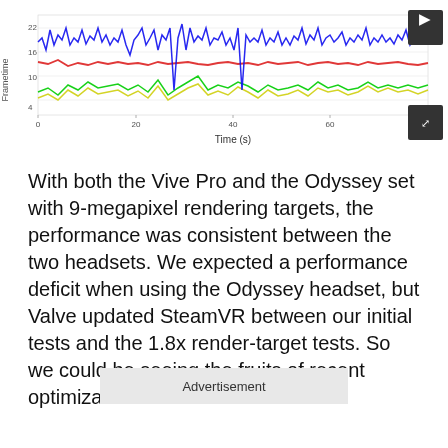[Figure (continuous-plot): A multi-line frametime chart showing performance over time (in seconds) for multiple headsets. Lines in blue, red, green, and yellow represent different data series. Y-axis labeled 'Frametime' with values roughly 4-22ms. X-axis labeled 'Time (s)' with values from 0 to ~80s. A dark expand button is visible in the top-right corner.]
With both the Vive Pro and the Odyssey set with 9-megapixel rendering targets, the performance was consistent between the two headsets. We expected a performance deficit when using the Odyssey headset, but Valve updated SteamVR between our initial tests and the 1.8x render-target tests. So we could be seeing the fruits of recent optimizations.
Advertisement